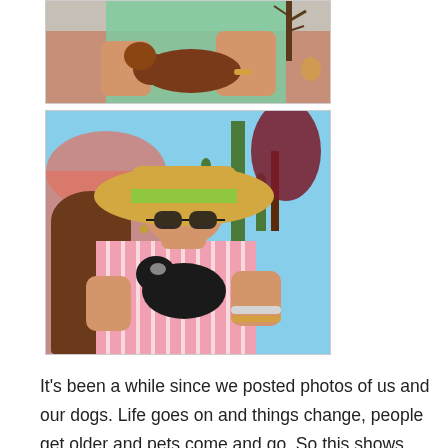[Figure (photo): Top photo: A person in a mint green shirt holding a brown dachshund dog, standing against a pink/terracotta wall with a bare tree in the background.]
[Figure (photo): Bottom photo: A woman wearing a large tan sun hat with green band and sunglasses, dressed in a pink striped shirt, holding a small black and white dog. Background shows a saguaro cactus, dark red-leafed tree, and pink arched wall.]
It's been a while since we posted photos of us and our dogs. Life goes on and things change, people get older and pets come and go. So this shows our current